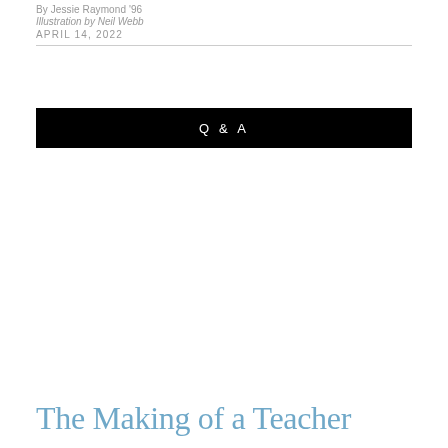By Jessie Raymond '96
Illustration by Neil Webb
APRIL 14, 2022
Q & A
The Making of a Teacher